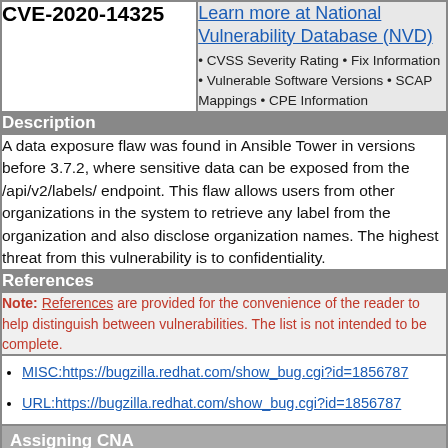| CVE-2020-14325 | Learn more at National Vulnerability Database (NVD) |
| --- | --- |
| CVE-2020-14325 | Learn more at National Vulnerability Database (NVD)
• CVSS Severity Rating • Fix Information • Vulnerable Software Versions • SCAP Mappings • CPE Information |
Description
A data exposure flaw was found in Ansible Tower in versions before 3.7.2, where sensitive data can be exposed from the /api/v2/labels/ endpoint. This flaw allows users from other organizations in the system to retrieve any label from the organization and also disclose organization names. The highest threat from this vulnerability is to confidentiality.
References
Note: References are provided for the convenience of the reader to help distinguish between vulnerabilities. The list is not intended to be complete.
MISC:https://bugzilla.redhat.com/show_bug.cgi?id=1856787
URL:https://bugzilla.redhat.com/show_bug.cgi?id=1856787
Assigning CNA